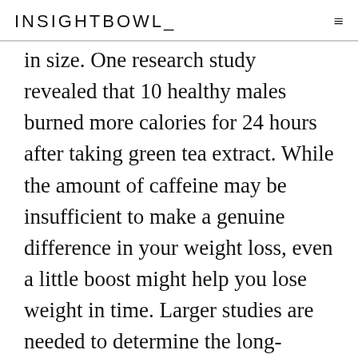INSIGHTBOWL
in size. One research study revealed that 10 healthy males burned more calories for 24 hours after taking green tea extract. While the amount of caffeine may be insufficient to make a genuine difference in your weight loss, even a little boost might help you lose weight in time. Larger studies are needed to determine the long-lasting effects of green tea.
Green tea has numerous benefits, consisting of the ability to increase your metabolic process and help you slim down. Whether